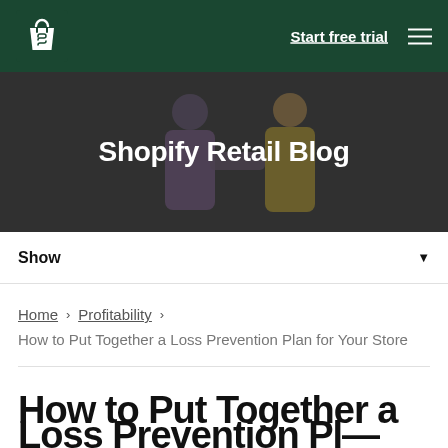Shopify — Start free trial [nav menu]
[Figure (photo): Hero image showing two people (one in purple shirt, one in yellow jacket) on a dark background, overlaid with the text 'Shopify Retail Blog']
Shopify Retail Blog
Show ▼
Home > Profitability > How to Put Together a Loss Prevention Plan for Your Store
How to Put Together a Loss Prevention Pl…